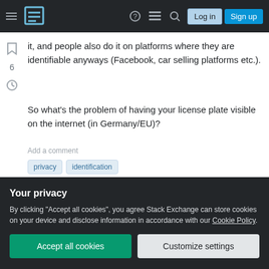Stack Exchange navigation bar with Log in and Sign up buttons
it, and people also do it on platforms where they are identifiable anyways (Facebook, car selling platforms etc.).
So what's the problem of having your license plate visible on the internet (in Germany/EU)?
privacy
identification
Share   Improve this question
asked Apr 16, 2019 at 7:02  OddDev
Your privacy
By clicking "Accept all cookies", you agree Stack Exchange can store cookies on your device and disclose information in accordance with our Cookie Policy.
Accept all cookies   Customize settings
Add a comment